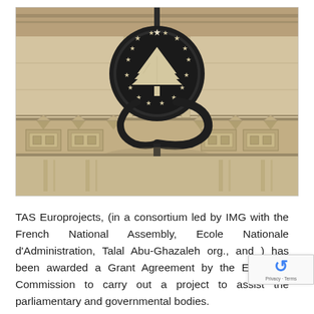[Figure (photo): Photograph of a stone building facade with ornate carved relief decorations. Centered is a large circular metallic emblem featuring a cedar tree (Lebanon's symbol) surrounded by stars, mounted on a decorative iron bracket. The stonework shows geometric and architectural motifs in a classical Middle Eastern style.]
TAS Europrojects, (in a consortium led by IMG with the French National Assembly, Ecole Nationale d'Administration, Talal Abu-Ghazaleh org., and ) has been awarded a Grant Agreement by the European Commission to carry out a project to assist the parliamentary and governmental bodies.